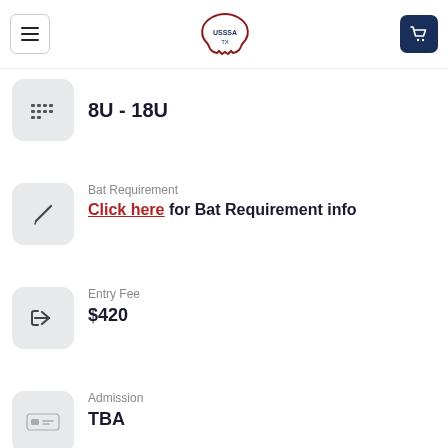Navigation header with menu button, USSSA TX logo, and cart button
8U - 18U
Bat Requirement
Click here for Bat Requirement info
Entry Fee
$420
Admission
TBA